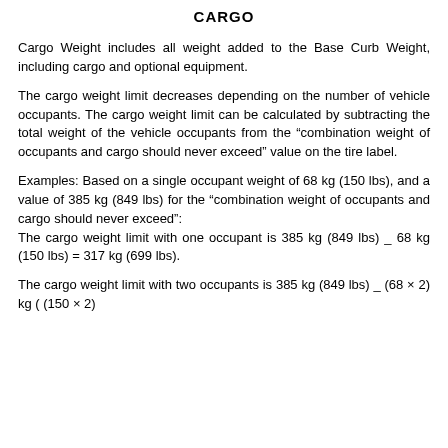CARGO
Cargo Weight includes all weight added to the Base Curb Weight, including cargo and optional equipment.
The cargo weight limit decreases depending on the number of vehicle occupants. The cargo weight limit can be calculated by subtracting the total weight of the vehicle occupants from the “combination weight of occupants and cargo should never exceed” value on the tire label.
Examples: Based on a single occupant weight of 68 kg (150 lbs), and a value of 385 kg (849 lbs) for the “combination weight of occupants and cargo should never exceed”: The cargo weight limit with one occupant is 385 kg (849 lbs) _ 68 kg (150 lbs) = 317 kg (699 lbs).
The cargo weight limit with two occupants is 385 kg (849 lbs) _ (68 × 2) kg ( (150 × 2)